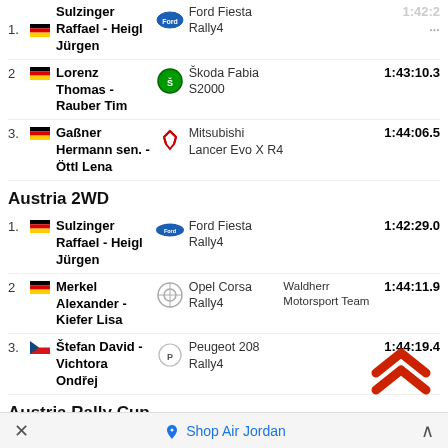1. Sulzinger Raffael - Heigl Jürgen | Ford Fiesta Rally4 | 1:42:29.0 (partial, top cut off)
2. Lorenz Thomas - Rauber Tim | Škoda Fabia S2000 | 1:43:10.3
3. Gaßner Hermann sen. - Öttl Lena | Mitsubishi Lancer Evo X R4 | 1:44:06.5
Austria 2WD
1. Sulzinger Raffael - Heigl Jürgen | Ford Fiesta Rally4 | 1:42:29.0
2. Merkel Alexander - Kiefer Lisa | Opel Corsa Rally4 | Waldherr Motorsport Team | 1:44:11.9
3. Štefan David - Vichtora Ondřej | Peugeot 208 Rally4 | 1:44:19.4
Austria Rally Cup
1. Lengauer Michael - Thauerböck Andreas | Subaru WRX STI | Bamminger Rallye Team | 1:42:07.0
2. Kalteis Martin - | Mitsubishi | 1:42:51.1
× Shop Air Jordan ^